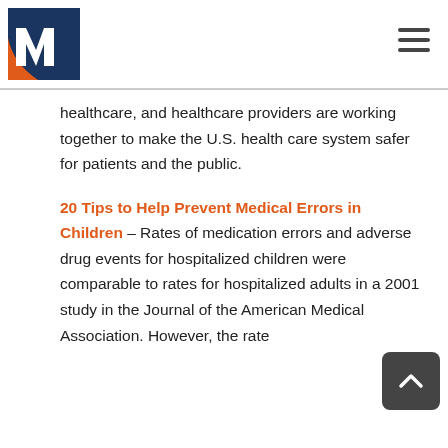[Logo: M icon, navy and orange] [Hamburger menu icon]
healthcare, and healthcare providers are working together to make the U.S. health care system safer for patients and the public.
20 Tips to Help Prevent Medical Errors in Children – Rates of medication errors and adverse drug events for hospitalized children were comparable to rates for hospitalized adults in a 2001 study in the Journal of the American Medical Association. However, the rate